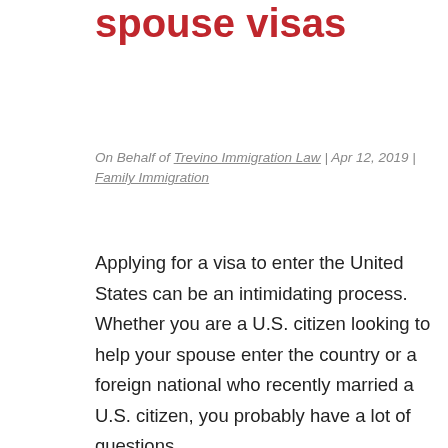spouse visas
On Behalf of Trevino Immigration Law | Apr 12, 2019 | Family Immigration
Applying for a visa to enter the United States can be an intimidating process. Whether you are a U.S. citizen looking to help your spouse enter the country or a foreign national who recently married a U.S. citizen, you probably have a lot of questions.
Below we provide answers to basic questions